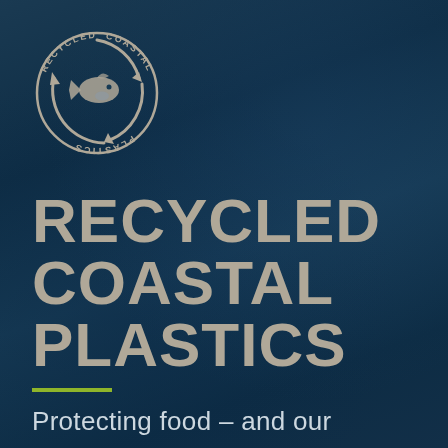[Figure (logo): Recycled Coastal Plastics circular logo with recycling arrows and fish silhouette in the center, text reading RECYCLED, COASTAL, PLASTICS around the circle]
RECYCLED COASTAL PLASTICS
Protecting food – and our